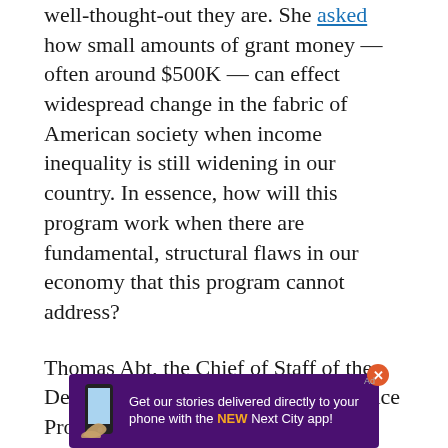well-thought-out they are. She asked how small amounts of grant money — often around $500K — can effect widespread change in the fabric of American society when income inequality is still widening in our country. In essence, how will this program work when there are fundamental, structural flaws in our economy that this program cannot address?
Thomas Abt, the Chief of Staff of the Department of Justice's Office of Justice Programs fielded the question, and offered a good answer, saying that the funds go further when they are combined with other programs and targeted better. This is, after all, the advantage of place-based policy. He went on to say that we shouldn't expect this program to fix the problems ... which is fair.
[Figure (other): Advertisement banner for Next City app: purple background with phone graphic, text 'Get our stories delivered directly to your phone with the NEW Next City app!']